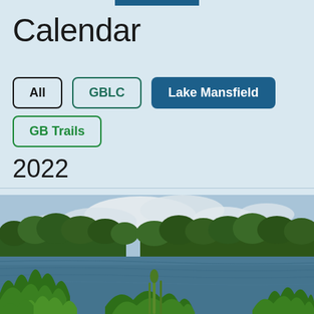Calendar
All | GBLC | Lake Mansfield | GB Trails
2022
[Figure (photo): Photograph of Lake Mansfield showing calm water surrounded by lush green trees, ferns and vegetation in the foreground, with a partly cloudy sky in the background.]